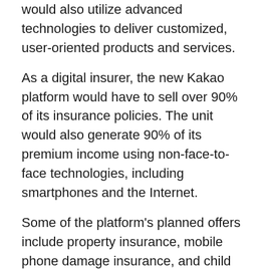…According to the FSC, Kakao's online-only insurance unit would also utilize advanced technologies to deliver customized, user-oriented products and services.
As a digital insurer, the new Kakao platform would have to sell over 90% of its insurance policies. The unit would also generate 90% of its premium income using non-face-to-face technologies, including smartphones and the Internet.
Some of the platform's planned offers include property insurance, mobile phone damage insurance, and child insurance. Moreover, Kakao would link the new child insurance to Kakao Kids, an interactive educational app. Kakao would also provide group insurance packages for various social activities and clubs.
Creating Synergy with Other Platforms
Furthermore, Choi Sae-Hoon, the current Kakao Pay